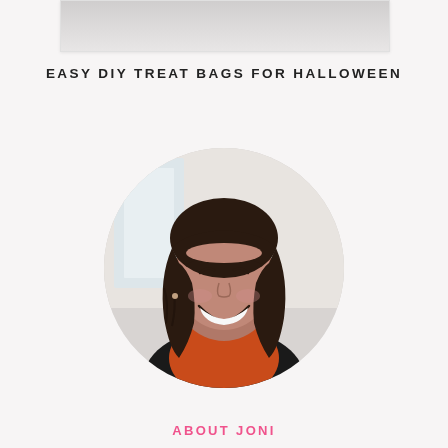[Figure (photo): Partial view of a framed image at the top of the page, showing a light gray/white background portion.]
EASY DIY TREAT BAGS FOR HALLOWEEN
[Figure (photo): Circular cropped portrait photo of a woman named Joni with dark shoulder-length hair with bangs, smiling and laughing, wearing an orange and black outfit, against a light background.]
ABOUT JONI